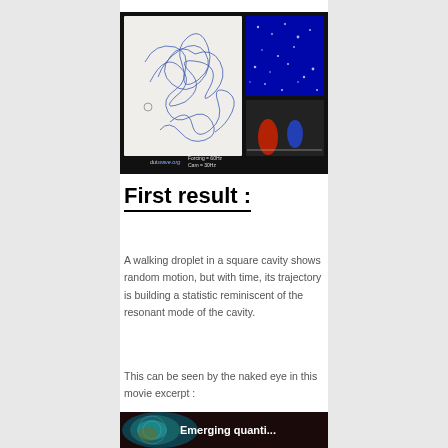[Figure (photo): Scientific experiment image showing a walking droplet trajectory (chaotic lines on white background on the left) and Faraday wave pattern (blue square image top right) plus a histogram/spectrum (bottom right), with text overlay 'Forcing=60Hz Cam=30Hz' and 'dutwave.org' logo on black background.]
First result :
A walking droplet in a square cavity shows random motion, but with time, its trajectory is building a statistic reminiscent of the resonant mode of the cavity.
This can be seen by the naked eye in this movie excerpt :
[Figure (screenshot): Video thumbnail with dark teal/blue swirling wave pattern background and a circular wave vortex image on the left side, with white text 'Emerging quanti...' on the right.]